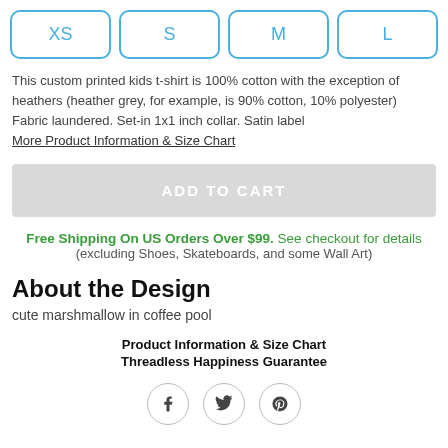XS
S
M
L
This custom printed kids t-shirt is 100% cotton with the exception of heathers (heather grey, for example, is 90% cotton, 10% polyester) Fabric laundered. Set-in 1x1 inch collar. Satin label
More Product Information & Size Chart
ADD TO CART
Free Shipping On US Orders Over $99. See checkout for details (excluding Shoes, Skateboards, and some Wall Art)
About the Design
cute marshmallow in coffee pool
Product Information & Size Chart
Threadless Happiness Guarantee
[Figure (other): Social share icons: Facebook, Twitter, Pinterest]